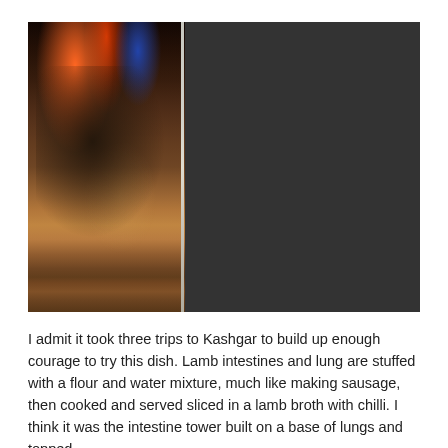[Figure (photo): A street food market scene, likely in Kashgar, China. Left panel shows a vendor in a black jacket and traditional hat working at a stall with bowls of food. Right panel shows a large circular pan with stacked lamb intestines and lungs piled in a tower formation with skewers, steaming in a night market setting.]
I admit it took three trips to Kashgar to build up enough courage to try this dish. Lamb intestines and lung are stuffed with a flour and water mixture, much like making sausage, then cooked and served sliced in a lamb broth with chilli. I think it was the intestine tower built on a base of lungs and topped